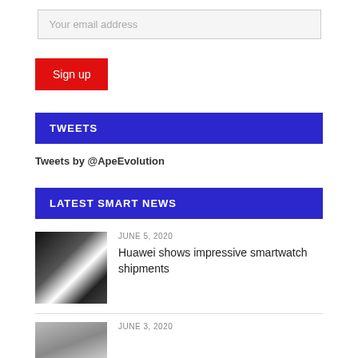Your email address
Sign up
TWEETS
Tweets by @ApeEvolution
LATEST SMART NEWS
JUNE 5, 2020
Huawei shows impressive smartwatch shipments
[Figure (photo): Person wearing smartwatch, close-up photo]
JUNE 3, 2020
[Figure (photo): Person photo, partially visible]